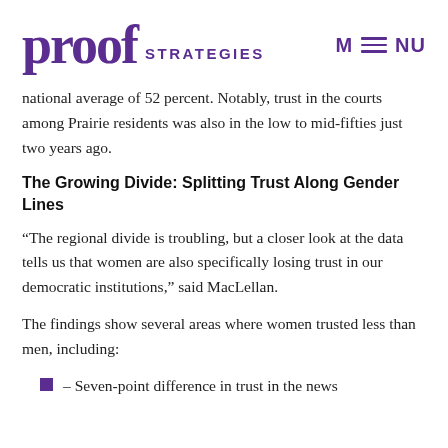proof STRATEGIES  MENU
national average of 52 percent. Notably, trust in the courts among Prairie residents was also in the low to mid-fifties just two years ago.
The Growing Divide: Splitting Trust Along Gender Lines
“The regional divide is troubling, but a closer look at the data tells us that women are also specifically losing trust in our democratic institutions,” said MacLellan.
The findings show several areas where women trusted less than men, including:
– Seven-point difference in trust in the news